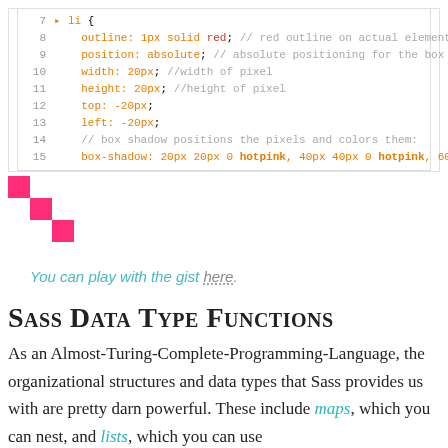[Figure (screenshot): Code block showing CSS for li selector with outline, position, width, height, top, left, and box-shadow properties. Lines 7-15 visible with syntax highlighting.]
[Figure (illustration): Three hotpink squares arranged diagonally, representing pixel art output of the CSS box-shadow code.]
You can play with the gist here.
Sass Data Type Functions
As an Almost-Turing-Complete-Programming-Language, the organizational structures and data types that Sass provides us with are pretty darn powerful. These include maps, which you can nest, and lists, which you can use